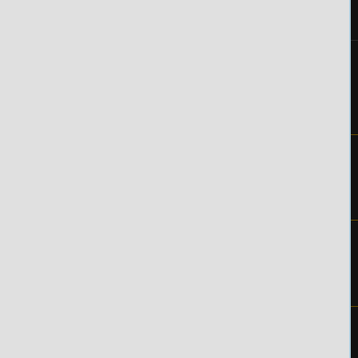[Figure (screenshot): Minecraft server management UI – left grey sidebar, center dark navigation menu with server info (Players: 0/12, Current map: world test, Version: 1.16.210), INFORMATION section (Dashboard, Event Log, Log Files), SETTINGS section (General, Configuration profiles, Config Files), TOOLS section (Player control, Live Server Console with red arrow pointing to it). Right panel shows 'Live Co…' heading in yellow, body text, dark console area with colored log lines and command input.]
Edition
Players: 0/12
Current map: world test
Version: 1.16.210
INFORMATION
Dashboard
Event Log
Log Files
SETTINGS
General
Configuration profiles
Config Files
TOOLS
Player control
Live Server Console
Live Co…
With the Live Serve… always see everyth…
[INFO] Player con…
[INFO] Player dis…
Try to connect to…
Attached to conta…
Enter command…